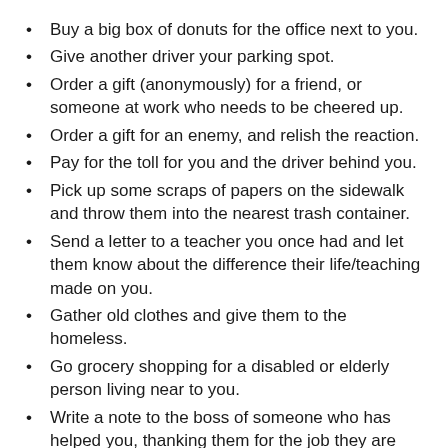Buy a big box of donuts for the office next to you.
Give another driver your parking spot.
Order a gift (anonymously) for a friend, or someone at work who needs to be cheered up.
Order a gift for an enemy, and relish the reaction.
Pay for the toll for you and the driver behind you.
Pick up some scraps of papers on the sidewalk and throw them into the nearest trash container.
Send a letter to a teacher you once had and let them know about the difference their life/teaching made on you.
Gather old clothes and give them to the homeless.
Go grocery shopping for a disabled or elderly person living near to you.
Write a note to the boss of someone who has helped you, thanking them for the job they are doing.
There must be all kinds of ways of reaching out to others. Why not email me with ideas that you have…